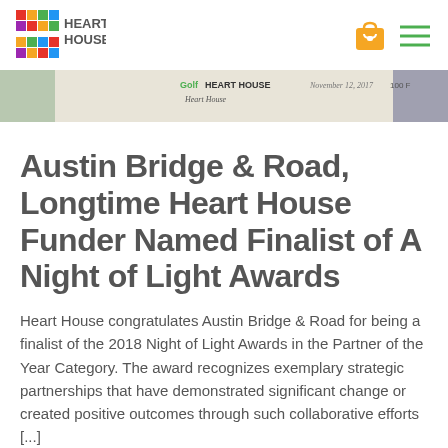Heart House logo and navigation icons
[Figure (photo): Banner image showing a golf tournament or event related to Heart House, with text including 'Golf', 'HEART HOUSE', date 'November 12, 2017', and handwritten signatures]
Austin Bridge & Road, Longtime Heart House Funder Named Finalist of A Night of Light Awards
Heart House congratulates Austin Bridge & Road for being a finalist of the 2018 Night of Light Awards in the Partner of the Year Category. The award recognizes exemplary strategic partnerships that have demonstrated significant change or created positive outcomes through such collaborative efforts [...]